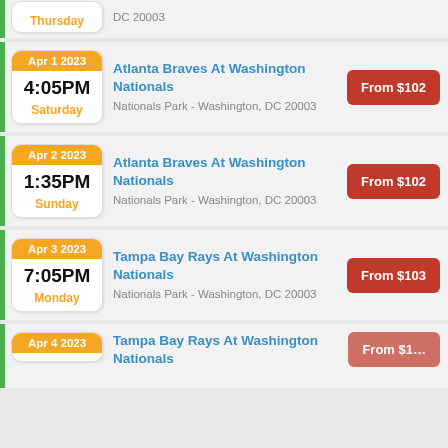Thursday — DC 20003
Apr 1 2023 — 4:05PM — Saturday — Atlanta Braves At Washington Nationals — Nationals Park - Washington, DC 20003 — From $102
Apr 2 2023 — 1:35PM — Sunday — Atlanta Braves At Washington Nationals — Nationals Park - Washington, DC 20003 — From $102
Apr 3 2023 — 7:05PM — Monday — Tampa Bay Rays At Washington Nationals — Nationals Park - Washington, DC 20003 — From $103
Apr 4 2023 — Tampa Bay Rays At Washington Nationals